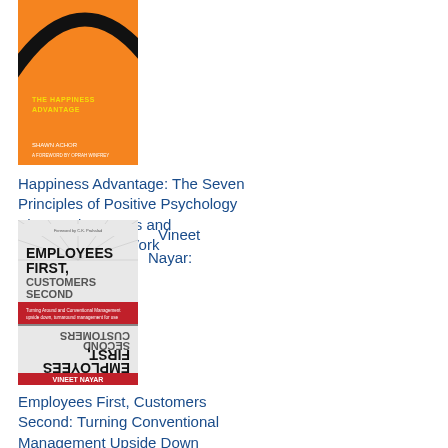[Figure (photo): Book cover of 'The Happiness Advantage' by Shawn Achor — orange background with a curved black line and yellow/white title text]
Happiness Advantage: The Seven Principles of Positive Psychology That Fuel Success and Performance at Work
[Figure (photo): Book cover of 'Employees First, Customers Second' by Vineet Nayar — grey/white background with bold black and red text, shown reflected/upside down in lower half]
Vineet Nayar:
Employees First, Customers Second: Turning Conventional Management Upside Down